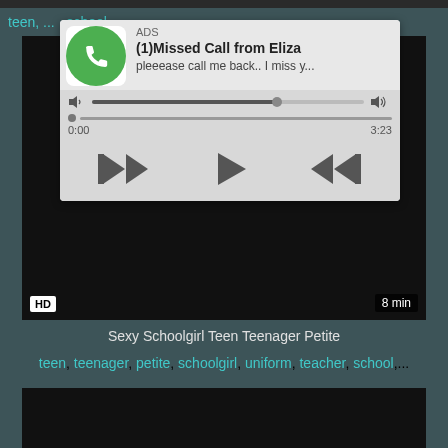[Figure (screenshot): Ad overlay showing a fake missed call notification with audio player controls. Title: (1)Missed Call from Eliza. Subtitle: pleeease call me back.. I miss y... ADS label at top. Progress bar and playback controls (rewind, play, fast-forward). Time shown: 0:00 and 3:23.]
[Figure (screenshot): Dark video thumbnail with HD badge in lower left and 8 min duration in lower right.]
Sexy Schoolgirl Teen Teenager Petite
teen, teenager, petite, schoolgirl, uniform, teacher, school,...
[Figure (screenshot): Second dark video thumbnail at bottom of page.]